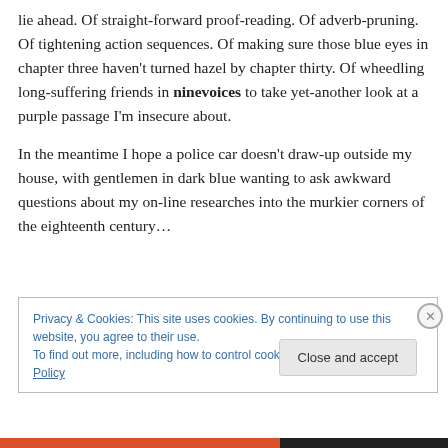lie ahead. Of straight-forward proof-reading. Of adverb-pruning. Of tightening action sequences. Of making sure those blue eyes in chapter three haven't turned hazel by chapter thirty. Of wheedling long-suffering friends in ninevoices to take yet-another look at a purple passage I'm insecure about.
In the meantime I hope a police car doesn't draw-up outside my house, with gentlemen in dark blue wanting to ask awkward questions about my on-line researches into the murkier corners of the eighteenth century…
Privacy & Cookies: This site uses cookies. By continuing to use this website, you agree to their use. To find out more, including how to control cookies, see here: Cookie Policy